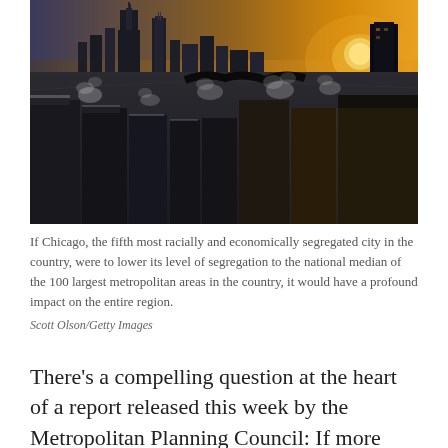[Figure (photo): Aerial photograph of Chicago skyline at sunrise or sunset with warm golden light, showing urban neighborhoods with steam rising from buildings and snow on rooftops, with skyscrapers visible in the background.]
If Chicago, the fifth most racially and economically segregated city in the country, were to lower its level of segregation to the national median of the 100 largest metropolitan areas in the country, it would have a profound impact on the entire region.
Scott Olson/Getty Images
There's a compelling question at the heart of a report released this week by the Metropolitan Planning Council: If more people — especially educated professional white